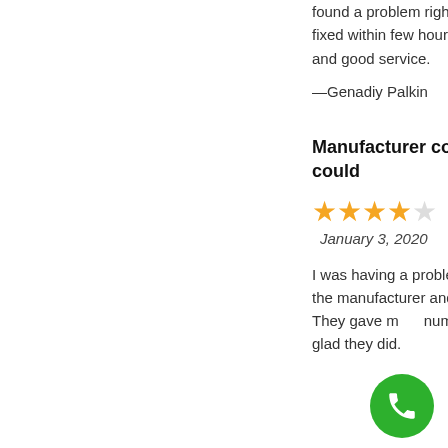found a problem right away and i got my TV fixed within few hours. I was amazed by fast and good service.
—Genadiy Palkin
Manufacturer couldn't help, they could
[Figure (other): 4 out of 5 stars rating]
January 3, 2020
I was having a problem with my T V and I called the manufacturer and they couldn't help me. They gave me a number to th... and I'm glad they did.
[Figure (other): Green phone/call floating action button]